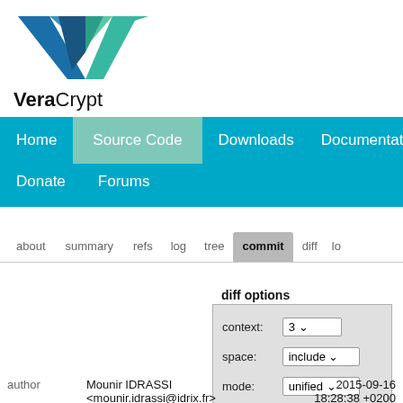[Figure (logo): VeraCrypt logo with teal/blue geometric V shape and text 'VeraCrypt' below]
Home | Source Code | Downloads | Documentation | Donate | Forums
about   summary   refs   log   tree   commit   diff   log
diff options
| field | value |
| --- | --- |
| context: | 3 |
| space: | include |
| mode: | unified |
author   Mounir IDRASSI <mounir.idrassi@idrix.fr>   2015-09-16 18:28:38 +0200